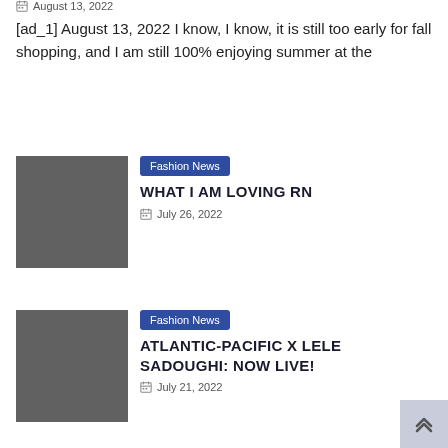August 13, 2022
[ad_1] August 13, 2022 I know, I know, it is still too early for fall shopping, and I am still 100% enjoying summer at the
[Figure (photo): Gray thumbnail placeholder image for article 'WHAT I AM LOVING RN']
Fashion News
WHAT I AM LOVING RN
July 26, 2022
[Figure (photo): Gray thumbnail placeholder image for article 'ATLANTIC-PACIFIC X LELE SADOUGHI: NOW LIVE!']
Fashion News
ATLANTIC-PACIFIC X LELE SADOUGHI: NOW LIVE!
July 21, 2022